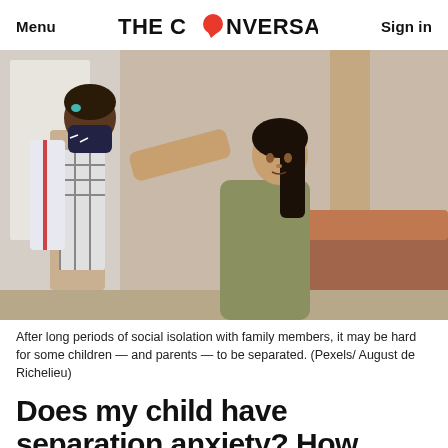Menu | THE CONVERSATION | Sign in
[Figure (photo): A parent crouching down and adjusting a face mask on a child who is wearing a backpack, indoors near a couch and window.]
After long periods of social isolation with family members, it may be hard for some children — and parents — to be separated. (Pexels/ August de Richelieu)
Does my child have separation anxiety? How